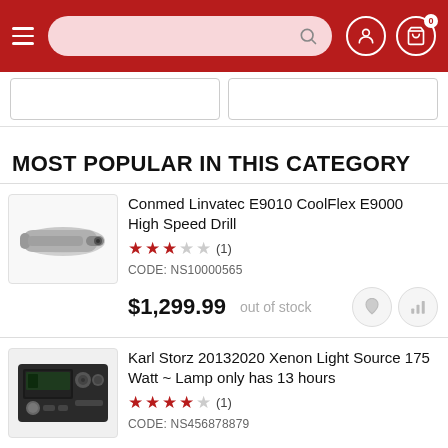Navigation header with search bar, user icon, and cart (0 items)
MOST POPULAR IN THIS CATEGORY
Conmed Linvatec E9010 CoolFlex E9000 High Speed Drill
Rating: 3/5 (1 review)
CODE: NS10000565
$1,299.99 — out of stock
Karl Storz 20132020 Xenon Light Source 175 Watt ~ Lamp only has 13 hours
Rating: 4/5 (1 review)
CODE: NS456878879